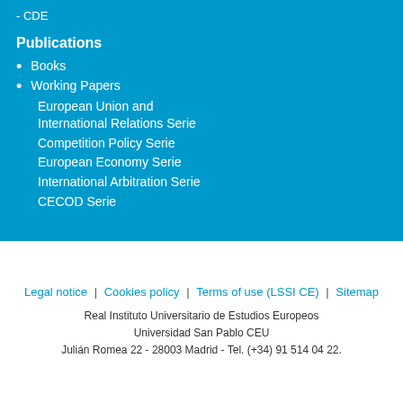- CDE
Publications
Books
Working Papers
European Union and International Relations Serie
Competition Policy Serie
European Economy Serie
International Arbitration Serie
CECOD Serie
Legal notice | Cookies policy | Terms of use (LSSI CE) | Sitemap
Real Instituto Universitario de Estudios Europeos
Universidad San Pablo CEU
Julián Romea 22 - 28003 Madrid - Tel. (+34) 91 514 04 22.